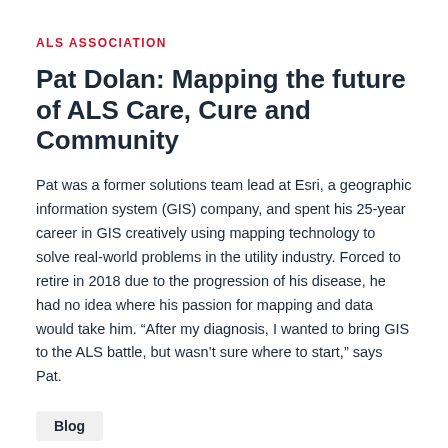ALS ASSOCIATION
Pat Dolan: Mapping the future of ALS Care, Cure and Community
Pat was a former solutions team lead at Esri, a geographic information system (GIS) company, and spent his 25-year career in GIS creatively using mapping technology to solve real-world problems in the utility industry. Forced to retire in 2018 due to the progression of his disease, he had no idea where his passion for mapping and data would take him. “After my diagnosis, I wanted to bring GIS to the ALS battle, but wasn’t sure where to start,” says Pat.
Blog